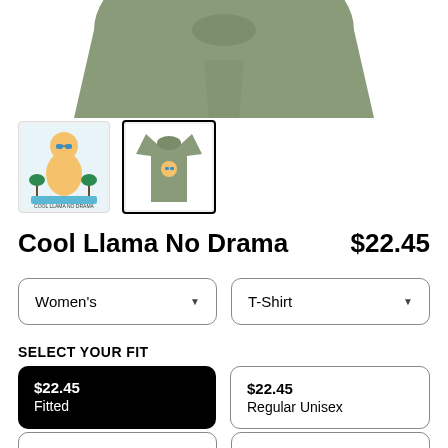[Figure (photo): Partial view of a sage/olive green t-shirt product shown from above, cropped at top of page]
[Figure (photo): Thumbnail 1: Cool llama graphic design illustration with text 'Cool Llama No Drama']
[Figure (photo): Thumbnail 2 (selected): Gray t-shirt with cool llama graphic, shown on white background, currently selected with black border]
Cool Llama No Drama   $22.45
Women's (dropdown)
T-Shirt (dropdown)
SELECT YOUR FIT
$22.45 Fitted (selected fit option)
$22.45 Regular Unisex (fit option)
Partial bottom row of fit options